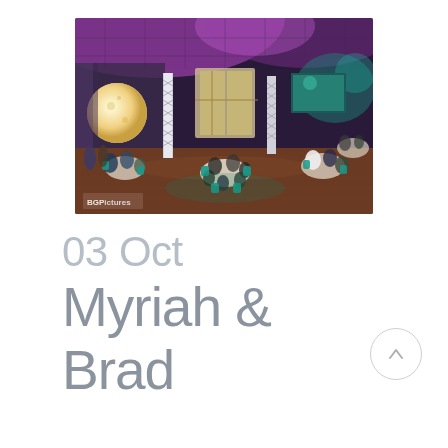[Figure (photo): Indoor event/banquet hall with purple and teal uplighting, round tables with guests seated, a large moon projection on the left wall, tall illuminated truss columns, hardwood dance floor, and a projection screen at the far end. BGPictures watermark visible in lower left corner.]
03 Oct
Myriah & Brad